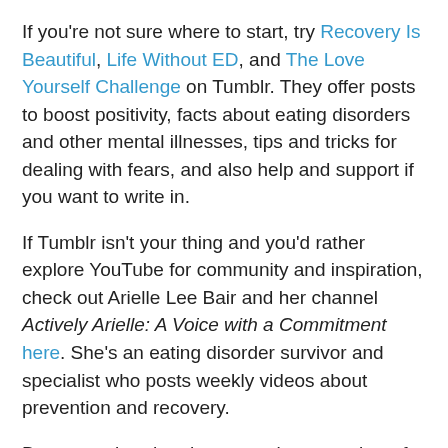If you're not sure where to start, try Recovery Is Beautiful, Life Without ED, and The Love Yourself Challenge on Tumblr. They offer posts to boost positivity, facts about eating disorders and other mental illnesses, tips and tricks for dealing with fears, and also help and support if you want to write in.
If Tumblr isn't your thing and you'd rather explore YouTube for community and inspiration, check out Arielle Lee Bair and her channel Actively Arielle: A Voice with a Commitment here. She's an eating disorder survivor and specialist who posts weekly videos about prevention and recovery.
But remember that there are also a number of real-life, in-person groups that meet across the country. With the support of a larger community, a person suffering from an